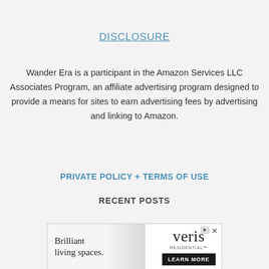DISCLOSURE
Wander Era is a participant in the Amazon Services LLC Associates Program, an affiliate advertising program designed to provide a means for sites to earn advertising fees by advertising and linking to Amazon.
PRIVATE POLICY + TERMS OF USE
RECENT POSTS
[Figure (other): Advertisement banner for Veris Residential. Left side shows text 'Brilliant living spaces.' on a light gradient background. Right side shows the Veris Residential logo and a 'LEARN MORE' button on dark background.]